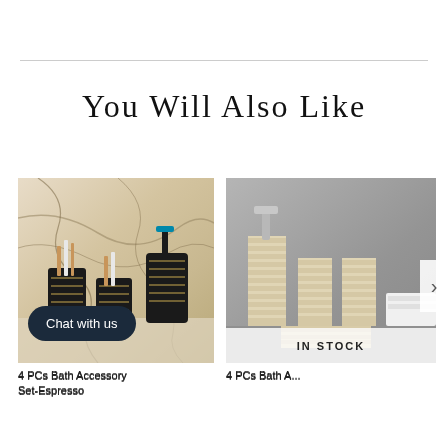You Will Also Like
[Figure (photo): 4 PCs black bathroom accessory set with gold geometric pattern, including soap dispenser, toothbrush holder, and dish, displayed on marble surface. Includes a 'Chat with us' button overlay.]
4 PCs Bath Accessory Set-Espresso
[Figure (photo): 4 PCs beige/natural textured bath accessory set with stacked rectangular ridged design, including soap dispenser, toothbrush holders, and soap dish, displayed on grey background. IN STOCK badge visible.]
4 PCs Bath A...